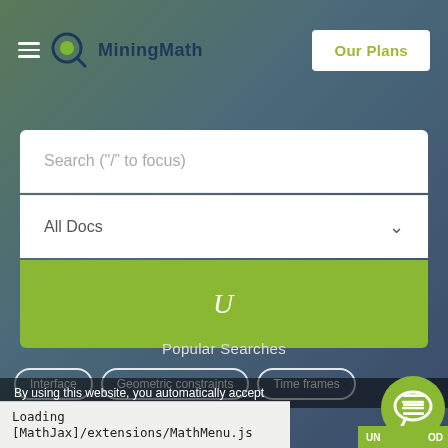[Figure (screenshot): MiningMath website header with hamburger menu, logo with magnifying glass icon, brand name 'MiningMath' in dark blue, and 'Our Plans' button in white with yellow-green text on the right]
Search ("/" to focus)
All Docs
U
Popular Searches
Interface
Geometric constraints
Time frames
By using this website, you automatically accept
Loading [MathJax]/extensions/MathMenu.js